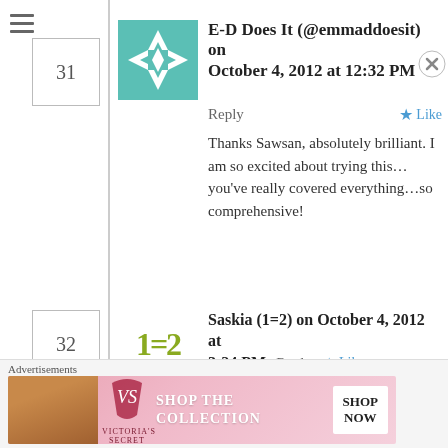[Figure (illustration): Hamburger/menu icon at top left]
31
[Figure (illustration): Teal and white geometric quilt-pattern avatar for E-D Does It]
E-D Does It (@emmaddoesit) on October 4, 2012 at 12:32 PM
Reply
Like
Thanks Sawsan, absolutely brilliant. I am so excited about trying this...you’ve really covered everything...so comprehensive!
32
[Figure (illustration): Avatar showing '1=2' in olive/yellow-green handwritten style text]
Saskia (1=2) on October 4, 2012 at 3:24 PM
Reply
Like
Great post Sawsan! I am definitely trying these. We’ve mastered Indian naan and chapati breads at our house,
Advertisements
[Figure (illustration): Victoria's Secret advertisement banner with model, VS logo, 'SHOP THE COLLECTION' text, and 'SHOP NOW' button]